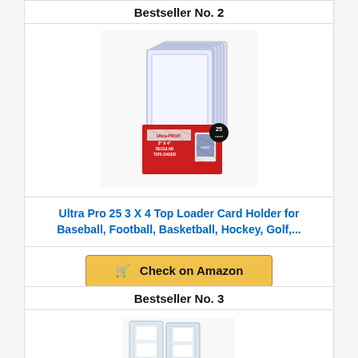Bestseller No. 2
[Figure (photo): Ultra Pro 25 3x4 Regular Toploader card holders stacked in a red box]
Ultra Pro 25 3 X 4 Top Loader Card Holder for Baseball, Football, Basketball, Hockey, Golf,...
Check on Amazon
Bestseller No. 3
[Figure (photo): Card sleeves or page holder product image, partially visible at bottom]